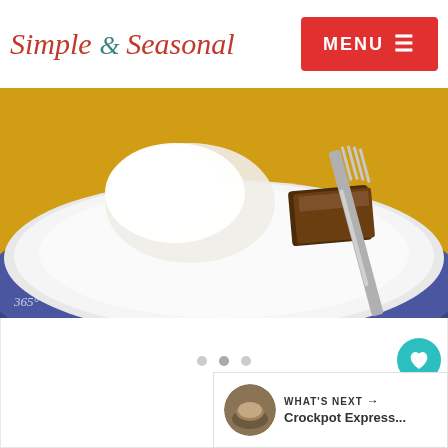Simple & Seasonal | MENU
[Figure (photo): Close-up photo of a dessert on a white plate with a dark blue rim, on a yellow background. A fork with chocolate cake or brownies and whipped cream is visible. Watermark reads '365°'.]
1
[Figure (photo): Thumbnail image for 'What's Next' widget showing a Crockpot Express dish.]
WHAT'S NEXT → Crockpot Express...